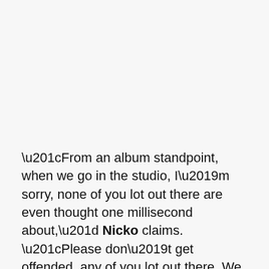“From an album standpoint, when we go in the studio, I’m sorry, none of you lot out there are even thought one millisecond about,” Nicko claims. “Please don’t get offended, any of you lot out there. We just write what we — at that time in that studio, in that circle of the sun, if you like, where we are in that time of our lives — come up with